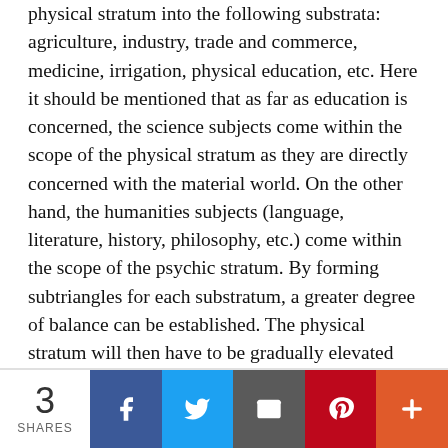physical stratum into the following substrata: agriculture, industry, trade and commerce, medicine, irrigation, physical education, etc. Here it should be mentioned that as far as education is concerned, the science subjects come within the scope of the physical stratum as they are directly concerned with the material world. On the other hand, the humanities subjects (language, literature, history, philosophy, etc.) come within the scope of the psychic stratum. By forming subtriangles for each substratum, a greater degree of balance can be established. The physical stratum will then have to be gradually elevated from the stage of degeneration to the stage of disruption. Later, after restoring a greater balance in the subtriangles, the physical stratum will have to be raised from the stage of disruption to the stage of derangement. There will be a perfect balance in the manifested triangle of the physical stratum when all the subtriangles are in perfect equilibrium.
[Figure (infographic): Social sharing bar with share count of 3 SHARES, and buttons for Facebook, Twitter, Email, Pinterest, and More (+)]